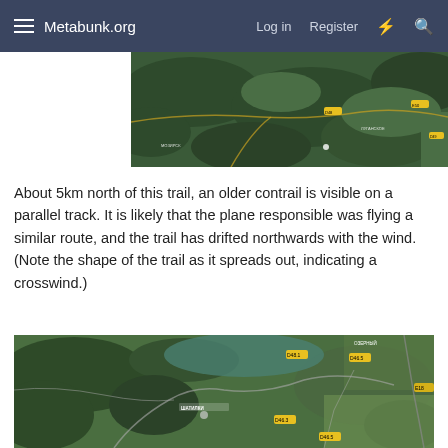Metabunk.org  Log in  Register
[Figure (photo): Satellite map view showing terrain with roads and route markers visible, partial crop at top of page]
About 5km north of this trail, an older contrail is visible on a parallel track. It is likely that the plane responsible was flying a similar route, and the trail has drifted northwards with the wind. (Note the shape of the trail as it spreads out, indicating a crosswind.)
[Figure (photo): Satellite map view showing hilly terrain, fields, roads, and village with yellow road markers]